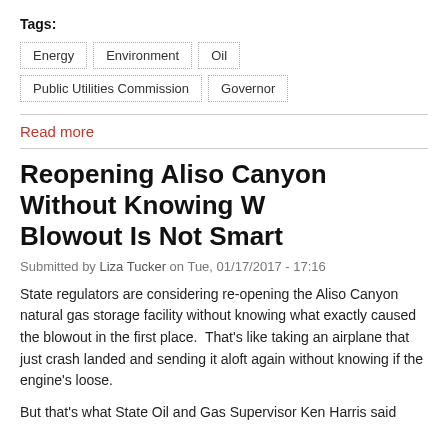Tags:
Energy
Environment
Oil
Public Utilities Commission
Governor
Read more
Reopening Aliso Canyon Without Knowing W... Blowout Is Not Smart
Submitted by Liza Tucker on Tue, 01/17/2017 - 17:16
State regulators are considering re-opening the Aliso Canyon natural gas storage facility without knowing what exactly caused the blowout in the first place.  That's like taking an airplane that just crash landed and sending it aloft again without knowing if the engine's loose.
But that's what State Oil and Gas Supervisor Ken Harris said